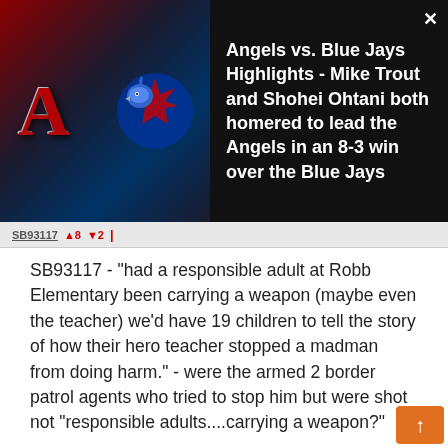[Figure (screenshot): Angels vs Blue Jays baseball video thumbnail with team logos on dark background]
Angels vs. Blue Jays Highlights - Mike Trout and Shohei Ohtani both homered to lead the Angels in an 8-3 win over the Blue Jays
SB93117 - "had a responsible adult at Robb Elementary been carrying a weapon (maybe even the teacher) we'd have 19 children to tell the story of how their hero teacher stopped a madman from doing harm." - were the armed 2 border patrol agents who tried to stop him but were shot not "responsible adults....carrying a weapon?"
SB 93117  ▲2  ▼5  🚩  MAY 27, 2022 05:57 AM
ERICL...FINALLY! An intelligent answer not